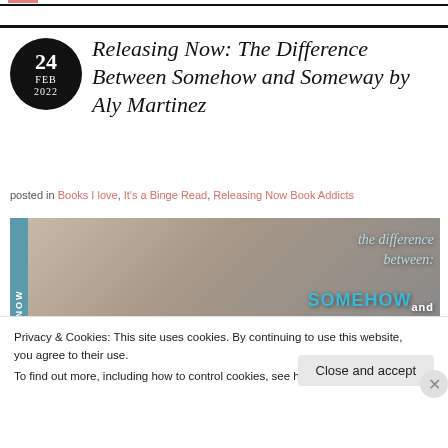Releasing Now: The Difference Between Somehow and Someway by Aly Martinez
posted in Books I love, It's a Binge Read, Releasing Now Book Addicts
[Figure (photo): Book cover promotional banner for 'The Difference Between Somehow and Someway' by Aly Martinez, showing a couple embracing with text overlay.]
Privacy & Cookies: This site uses cookies. By continuing to use this website, you agree to their use.
To find out more, including how to control cookies, see here: Cookie Policy